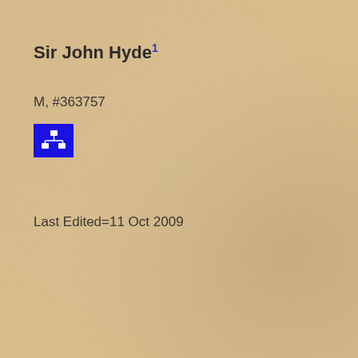Sir John Hyde1
M, #363757
[Figure (other): Blue icon button showing a family tree / relationship diagram symbol in white on blue background]
Last Edited=11 Oct 2009